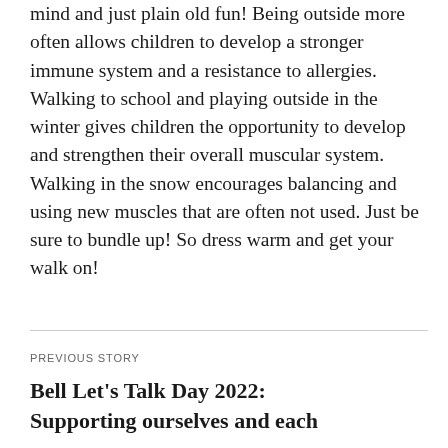mind and just plain old fun! Being outside more often allows children to develop a stronger immune system and a resistance to allergies. Walking to school and playing outside in the winter gives children the opportunity to develop and strengthen their overall muscular system. Walking in the snow encourages balancing and using new muscles that are often not used. Just be sure to bundle up! So dress warm and get your walk on!
PREVIOUS STORY
Bell Let's Talk Day 2022: Supporting ourselves and each